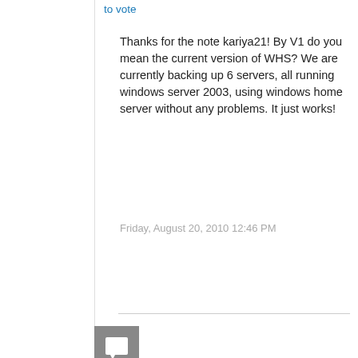to vote
Thanks for the note kariya21! By V1 do you mean the current version of WHS? We are currently backing up 6 servers, all running windows server 2003, using windows home server without any problems. It just works!
Friday, August 20, 2010 12:46 PM
[Figure (illustration): Gray square avatar icon with white speech bubble / comment icon]
0
Sign in to vote
Thanks for the note kariya21! By V1 do you mean the current